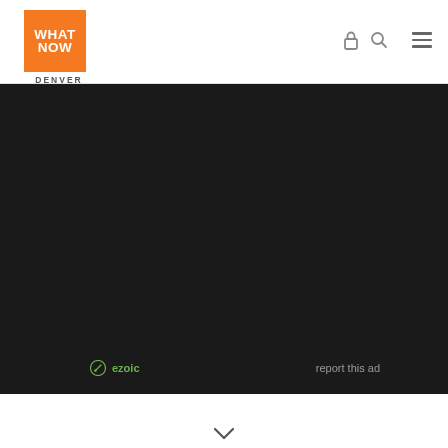[Figure (logo): What Now Denver logo - orange square with white WHAT NOW text and DENVER label below]
[Figure (screenshot): Dark background ad area with Ezoic badge and report this ad link at bottom]
ezoic
report this ad